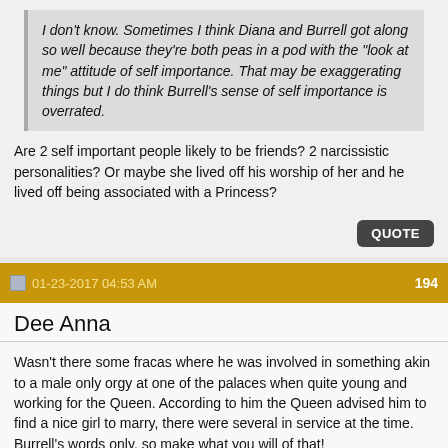I don't know. Sometimes I think Diana and Burrell got along so well because they're both peas in a pod with the "look at me" attitude of self importance. That may be exaggerating things but I do think Burrell's sense of self importance is overrated.
Are 2 self important people likely to be friends? 2 narcissistic personalities? Or maybe she lived off his worship of her and he lived off being associated with a Princess?
QUOTE
01-23-2017 04:53 AM   194
Dee Anna
Wasn't there some fracas where he was involved in something akin to a male only orgy at one of the palaces when quite young and working for the Queen. According to him the Queen advised him to find a nice girl to marry, there were several in service at the time. Burrell's words only, so make what you will of that!
Taking her advise, he dated and married Maria.
Two boys later, now about 24 and 27, he did initially blame much of the problems in his own marriage on the outside hours attention he had to give Diana.